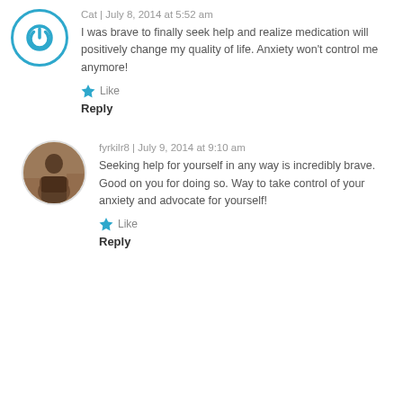Cat | July 8, 2014 at 5:52 am
I was brave to finally seek help and realize medication will positively change my quality of life. Anxiety won’t control me anymore!
Like
Reply
fyrkilr8 | July 9, 2014 at 9:10 am
Seeking help for yourself in any way is incredibly brave. Good on you for doing so. Way to take control of your anxiety and advocate for yourself!
Like
Reply